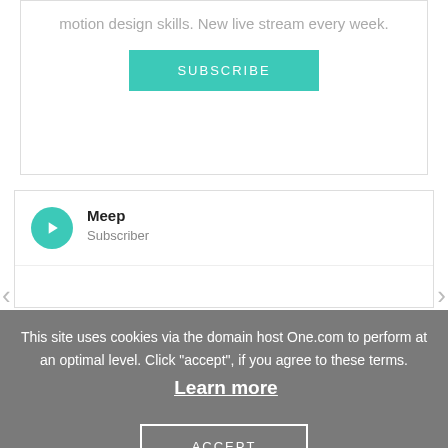motion design skills. New live stream every week.
[Figure (other): Teal SUBSCRIBE button]
[Figure (other): Comment card with YouTube-style teal avatar showing play icon, name 'Meep', role 'Subscriber', with left and right navigation arrows]
This site uses cookies via the domain host One.com to perform at an optimal level. Click "accept", if you agree to these terms. Learn more
[Figure (other): ACCEPT button in cookie consent overlay]